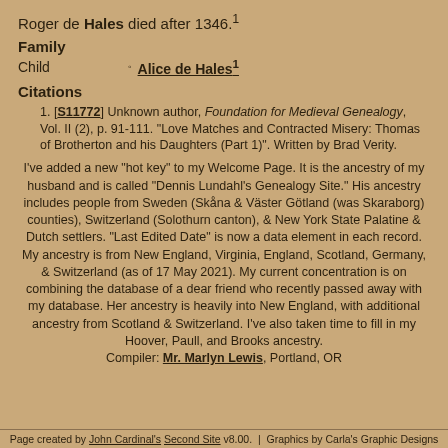Roger de Hales died after 1346.¹
Family
Child  ◦  Alice de Hales¹
Citations
[S11772] Unknown author, Foundation for Medieval Genealogy, Vol. II (2), p. 91-111. "Love Matches and Contracted Misery: Thomas of Brotherton and his Daughters (Part 1)". Written by Brad Verity.
I've added a new "hot key" to my Welcome Page. It is the ancestry of my husband and is called "Dennis Lundahl's Genealogy Site." His ancestry includes people from Sweden (Skåna & Väster Götland (was Skaraborg) counties), Switzerland (Solothurn canton), & New York State Palatine & Dutch settlers. "Last Edited Date" is now a data element in each record. My ancestry is from New England, Virginia, England, Scotland, Germany, & Switzerland (as of 17 May 2021). My current concentration is on combining the database of a dear friend who recently passed away with my database. Her ancestry is heavily into New England, with additional ancestry from Scotland & Switzerland. I've also taken time to fill in my Hoover, Paull, and Brooks ancestry.
Compiler: Mr. Marlyn Lewis, Portland, OR
Page created by John Cardinal's Second Site v8.00.  |  Graphics by Carla's Graphic Designs